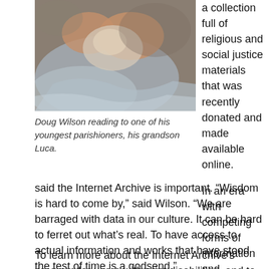[Figure (photo): A person holding a swaddled infant, photo of Doug Wilson reading to his grandson Luca.]
Doug Wilson reading to one of his youngest parishioners, his grandson Luca.
a collection full of religious and social justice materials that was recently donated and made available online.
In an era with competing forms of information and disinformation, Wilson said the Internet Archive is important. “Wisdom is hard to come by,” said Wilson. “We are barraged with data in our culture. It can be hard to ferret out what’s real. To have access to actual information and works that have stood the test of time is a godsend.”
To learn more about the Internet Archive’s program for users with print disabilities, and to verify eligibility, please visit the